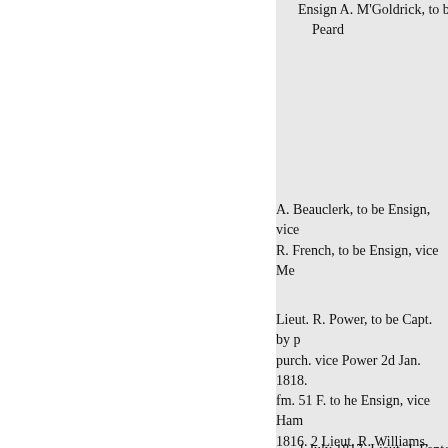Ensign A. M'Goldrick, to be
    Peard
A. Beauclerk, to be Ensign, vice
R. French, to be Ensign, vice Me
Lieut. R. Power, to be Capt. by p
purch. vice Power 2d Jan. 1818.
fm. 51 F. to he Ensign, vice Ham
1816. 2 Lieut. R. Williams, fm. h
1 July 1817. Lieut. J. Fenton,
vice Fenton 20th Mar. Brevet Lie
1818. Licut. R. G. Lavers, to be
vice Lavers do.
A. Maclean, to be Ensign by p
Barker
do. Lieut. C. Blankenberg, to be
Lieut. by purch. vice Blankenber
Lieut. R. Wickam, fm. h. p. 6 W.